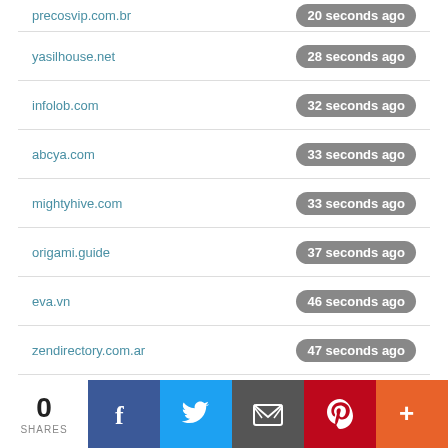| Domain | Time |
| --- | --- |
| precosvip.com.br | 20 seconds ago |
| yasilhouse.net | 28 seconds ago |
| infolob.com | 32 seconds ago |
| abcya.com | 33 seconds ago |
| mightyhive.com | 33 seconds ago |
| origami.guide | 37 seconds ago |
| eva.vn | 46 seconds ago |
| zendirectory.com.ar | 47 seconds ago |
| africastay.com | 47 seconds ago |
| mg.co.za | 49 seconds ago |
Copyright © 2020 W3use.Com, All Rights Reserved.
[Figure (infographic): Social sharing bar with 0 shares count and buttons for Facebook, Twitter, Email, Pinterest, and More]